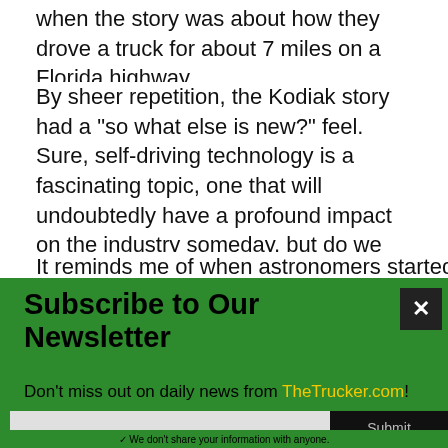when the story was about how they drove a truck for about 7 miles on a Florida highway.
By sheer repetition, the Kodiak story had a “so what else is new?” feel. Sure, self-driving technology is a fascinating topic, one that will undoubtedly have a profound impact on the industry someday, but do we need to run a story every time one of these companies has what it wants us to consider a breakthrough?
It reminds me of when astronomers started finding
Subscribe to Our Newsletter
Don’t miss out on daily news from TheTrucker.com! Enter your email address to have our newsletters and email alerts sent straight to your mailbox — all for free.
✓ We don’t share your information with anyone.